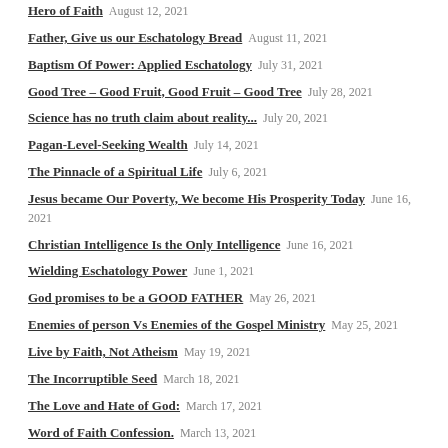Hero of Faith — August 12, 2021
Father, Give us our Eschatology Bread — August 11, 2021
Baptism Of Power: Applied Eschatology — July 31, 2021
Good Tree – Good Fruit, Good Fruit – Good Tree — July 28, 2021
Science has no truth claim about reality... — July 20, 2021
Pagan-Level-Seeking Wealth — July 14, 2021
The Pinnacle of a Spiritual Life — July 6, 2021
Jesus became Our Poverty, We become His Prosperity Today — June 16, 2021
Christian Intelligence Is the Only Intelligence — June 16, 2021
Wielding Eschatology Power — June 1, 2021
God promises to be a GOOD FATHER — May 26, 2021
Enemies of person Vs Enemies of the Gospel Ministry — May 25, 2021
Live by Faith, Not Atheism — May 19, 2021
The Incorruptible Seed — March 18, 2021
The Love and Hate of God: — March 17, 2021
Word of Faith Confession. — March 13, 2021
When God's Will, Is Turned into Demonic Divination — March 3, 2021